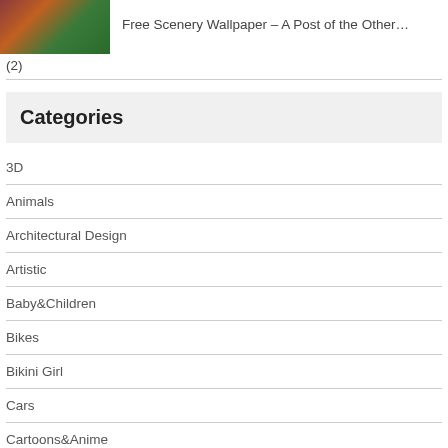[Figure (photo): Thumbnail image of a person in a green outfit]
Free Scenery Wallpaper – A Post of the Other…
(2)
Categories
3D
Animals
Architectural Design
Artistic
Baby&Children
Bikes
Bikini Girl
Cars
Cartoons&Anime
Funny